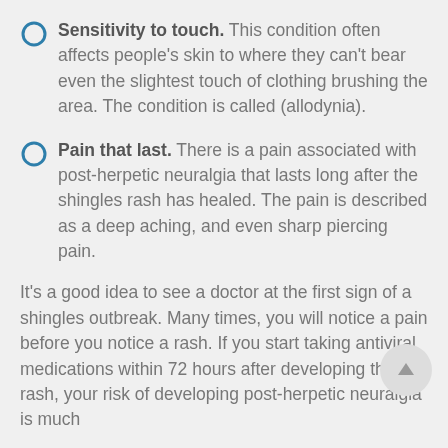Sensitivity to touch. This condition often affects people’s skin to where they can’t bear even the slightest touch of clothing brushing the area. The condition is called (allodynia).
Pain that last. There is a pain associated with post-herpetic neuralgia that lasts long after the shingles rash has healed. The pain is described as a deep aching, and even sharp piercing pain.
It’s a good idea to see a doctor at the first sign of a shingles outbreak. Many times, you will notice a pain before you notice a rash. If you start taking antiviral medications within 72 hours after developing the rash, your risk of developing post-herpetic neuralgia is much